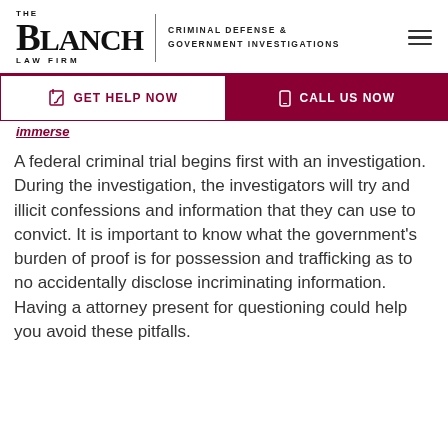[Figure (logo): The Blanch Law Firm logo with text 'Criminal Defense & Government Investigations']
[Figure (infographic): Navigation bar with 'GET HELP NOW' and 'CALL US NOW' buttons]
immense
A federal criminal trial begins first with an investigation. During the investigation, the investigators will try and illicit confessions and information that they can use to convict. It is important to know what the government's burden of proof is for possession and trafficking as to not accidentally disclose incriminating information. Having a attorney present for questioning could help you avoid these pitfalls.